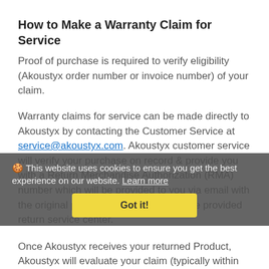How to Make a Warranty Claim for Service
Proof of purchase is required to verify eligibility (Akoustyx order number or invoice number) of your claim.
Warranty claims for service can be made directly to Akoustyx by contacting the Customer Service at service@akoustyx.com. Akoustyx customer service will verify your purchase on record & provide you with a Return Merchandise Authorization (RMA) number which will be provided to you via email with the original packaging instructions to the provided return service center.
Once Akoustyx receives your returned Product, Akoustyx will evaluate your claim (typically within